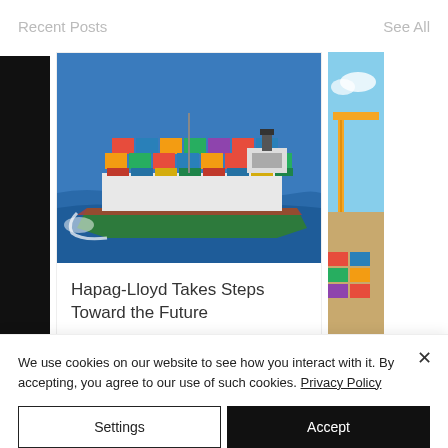Recent Posts  See All
[Figure (photo): Large container ship loaded with colorful shipping containers sailing on blue ocean water, aerial view]
Hapag-Lloyd Takes Steps Toward the Future
[Figure (photo): Partial view of another shipping-related photo on the right side, partially cropped]
We use cookies on our website to see how you interact with it. By accepting, you agree to our use of such cookies. Privacy Policy
Settings
Accept